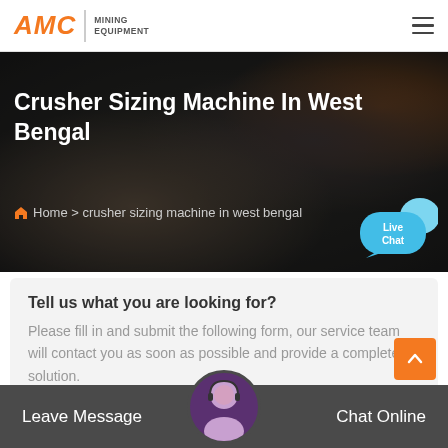AMC | MINING EQUIPMENT
Crusher Sizing Machine In West Bengal
Home > crusher sizing machine in west bengal
Live Chat
Tell us what you are looking for?
Please fill in and submit the following form, our service team will contact you as soon as possible and provide a complete solution.
Name:
As: Tom
Email:*
Leave Message   Chat Online